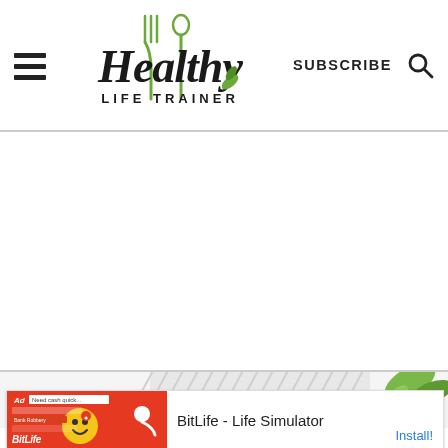Healthy Life Trainer — navigation header with hamburger menu, logo, SUBSCRIBE, and search icon
[Figure (logo): Healthy Life Trainer logo with fork and spoon graphic and decorative script text]
SUBSCRIBE
[Figure (screenshot): Partial content image strip below main content area showing striped texture and green herbs]
[Figure (screenshot): Ad banner: BitLife - Life Simulator with Install! call to action]